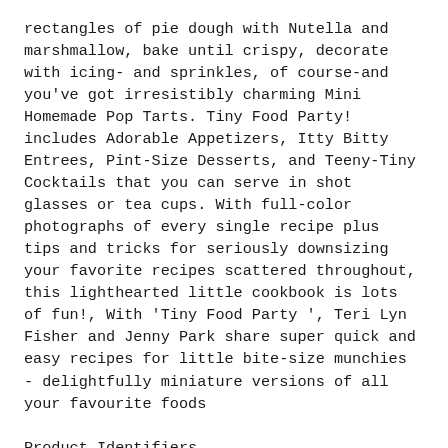rectangles of pie dough with Nutella and marshmallow, bake until crispy, decorate with icing- and sprinkles, of course-and you've got irresistibly charming Mini Homemade Pop Tarts. Tiny Food Party! includes Adorable Appetizers, Itty Bitty Entrees, Pint-Size Desserts, and Teeny-Tiny Cocktails that you can serve in shot glasses or tea cups. With full-color photographs of every single recipe plus tips and tricks for seriously downsizing your favorite recipes scattered throughout, this lighthearted little cookbook is lots of fun!, With 'Tiny Food Party ', Teri Lyn Fisher and Jenny Park share super quick and easy recipes for little bite-size munchies - delightfully miniature versions of all your favourite foods
Product Identifiers
ISBN-10 1594745811
ISBN-13 9781594745812